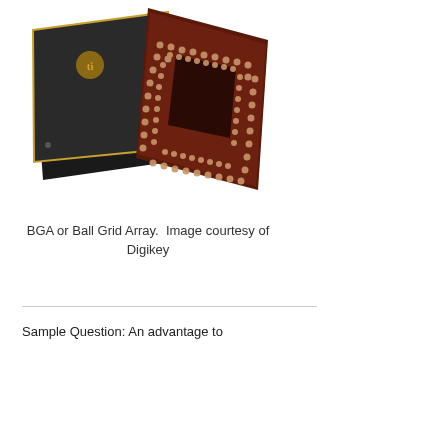[Figure (photo): Two BGA (Ball Grid Array) integrated circuit packages. Left: a black square chip with Texas Instruments logo on top. Right: a dark brown/maroon chip showing the underside grid of solder balls arranged in rows and columns, viewed slightly from above.]
BGA or Ball Grid Array.  Image courtesy of Digikey
Sample Question: An advantage to